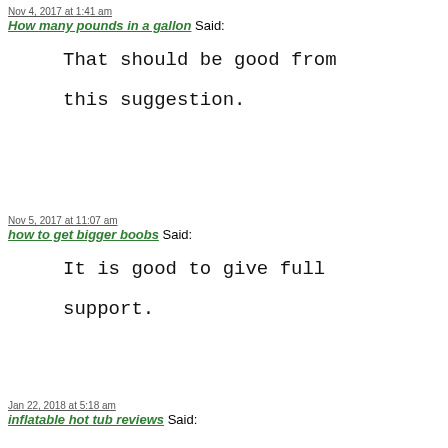Nov 4, 2017 at 1:41 am
How many pounds in a gallon Said:
That should be good from this suggestion.
Nov 5, 2017 at 11:07 am
how to get bigger boobs Said:
It is good to give full support.
Jan 22, 2018 at 5:18 am
inflatable hot tub reviews Said: